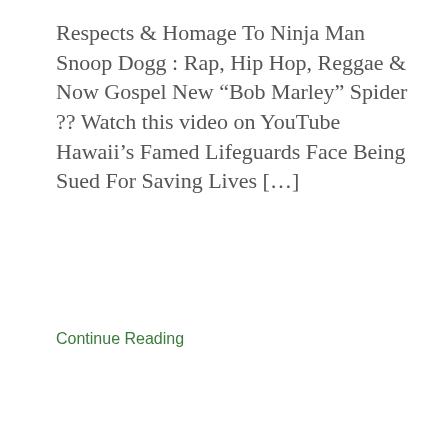Respects & Homage To Ninja Man Snoop Dogg : Rap, Hip Hop, Reggae & Now Gospel New “Bob Marley” Spider ?? Watch this video on YouTube Hawaii’s Famed Lifeguards Face Being Sued For Saving Lives […]
Continue Reading
[Figure (illustration): Satellite dish icon with colorful signal waves in red, yellow, green on a light blue background]
SURF & REGGAE NEWS: 12/29/17
by Jillh on December 29, 2017 in Kulcha News
Kulcha Shok Muzik brings you daily surf and reggae news, keeping you informed with the latest in the industries.  Barrington Levy & His Son Krishane Join Forces Dancing Life In Jamaica: In The Streets & For The Kids If You Want